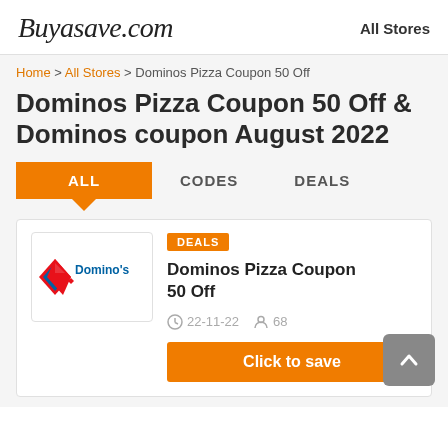Buyasave.com | All Stores
Home > All Stores > Dominos Pizza Coupon 50 Off
Dominos Pizza Coupon 50 Off & Dominos coupon August 2022
ALL | CODES | DEALS
[Figure (logo): Domino's Pizza logo with red diamond and blue text]
DEALS
Dominos Pizza Coupon 50 Off
22-11-22  68
Click to save